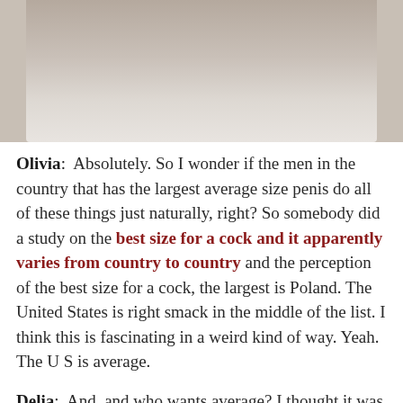[Figure (photo): Partial photo of human legs/lower body against a light wall background]
Olivia:  Absolutely. So I wonder if the men in the country that has the largest average size penis do all of these things just naturally, right? So somebody did a study on the best size for a cock and it apparently varies from country to country and the perception of the best size for a cock, the largest is Poland. The United States is right smack in the middle of the list. I think this is fascinating in a weird kind of way. Yeah. The U S is average.
Delia:  And, and who wants average? I thought it was actually pretty fascinating too, but what